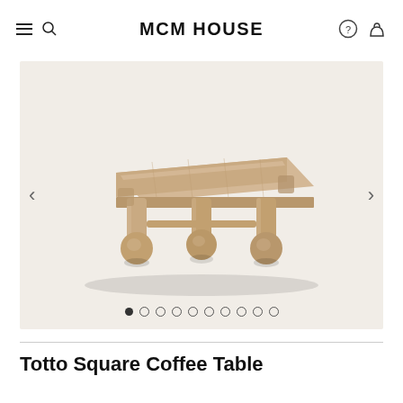MCM HOUSE
[Figure (photo): A rustic wooden square coffee table with bulbous ball-shaped feet, made from natural light-colored reclaimed wood, displayed on a beige background.]
Totto Square Coffee Table